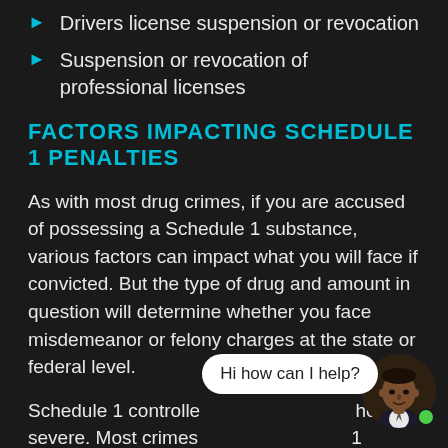Drivers license suspension or revocation
Suspension or revocation of professional licenses
FACTORS IMPACTING SCHEDULE 1 PENALTIES
As with most drug crimes, if you are accused of possessing a Schedule 1 substance, various factors can impact what you will face if convicted. But the type of drug and amount in question will determine whether you face misdemeanor or felony charges at the state or federal level.
Schedule 1 controlled substances are the most severe. Most crimes involving Schedule 1 substances will be felonies, where the amount…